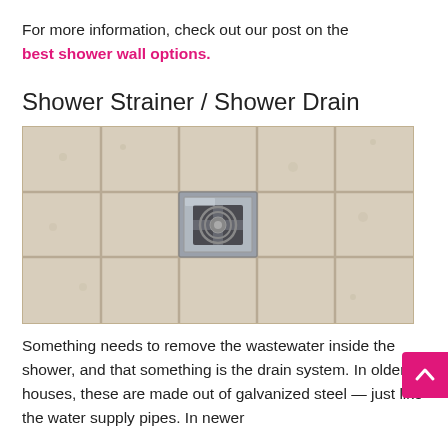For more information, check out our post on the best shower wall options.
Shower Strainer / Shower Drain
[Figure (photo): A shower floor with beige/cream ceramic tiles and a square chrome shower drain/strainer in the center, tiles are wet with water droplets visible.]
Something needs to remove the wastewater inside the shower, and that something is the drain system. In older houses, these are made out of galvanized steel — just like the water supply pipes. In newer